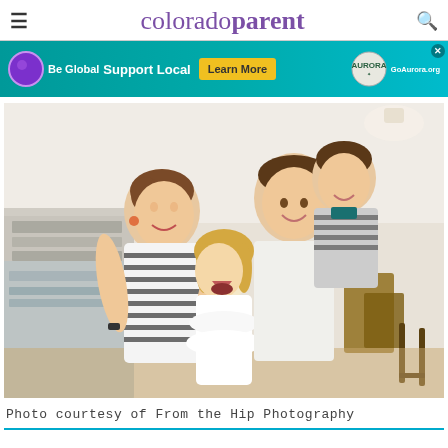colorado parent
[Figure (photo): Advertisement banner: teal background with purple circle, text 'Be Global Support Local', yellow 'Learn More' button, Aurora logo, GoAurora.org]
[Figure (photo): Family photo of a woman in striped dress holding a young girl in white dress, and a man holding a boy in striped shirt, all smiling and laughing inside what appears to be an ice cream shop or bakery]
Photo courtesy of From the Hip Photography